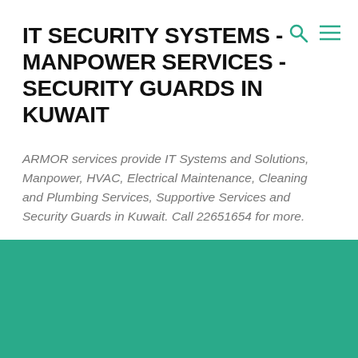IT SECURITY SYSTEMS - MANPOWER SERVICES - SECURITY GUARDS IN KUWAIT
ARMOR services provide IT Systems and Solutions, Manpower, HVAC, Electrical Maintenance, Cleaning and Plumbing Services, Supportive Services and Security Guards in Kuwait. Call 22651654 for more.